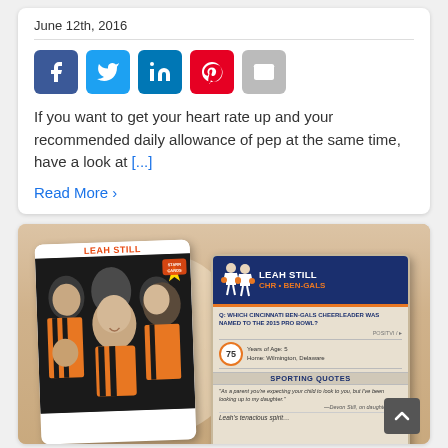June 12th, 2016
[Figure (infographic): Social sharing icons: Facebook (blue), Twitter (cyan), LinkedIn (blue), Pinterest (red), Email (gray)]
If you want to get your heart rate up and your recommended daily allowance of pep at the same time, have a look at [...]
Read More >
[Figure (photo): Two trading cards for Leah Still. Front card shows a young bald child (cancer patient) with Cincinnati Ben-Gals cheerleaders in Bengals orange and black uniforms. Back card shows: LEAH STILL / CHR • BEN-GALS with a question about which Cincinnati Ben-Gals cheerleader was named to the 2015 Pro Bowl, number 75, vitals: Years of Age: 5, Home: Wilmington, Delaware, Sporting Quotes section with quote from Devon Still about his daughter Leah, and partial text 'Leah's tenacious spirit...']